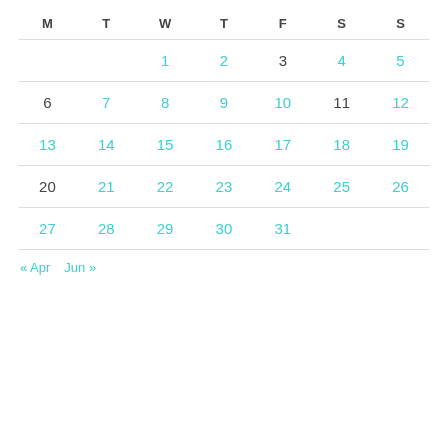| M | T | W | T | F | S | S |
| --- | --- | --- | --- | --- | --- | --- |
|  |  | 1 | 2 | 3 | 4 | 5 |
| 6 | 7 | 8 | 9 | 10 | 11 | 12 |
| 13 | 14 | 15 | 16 | 17 | 18 | 19 |
| 20 | 21 | 22 | 23 | 24 | 25 | 26 |
| 27 | 28 | 29 | 30 | 31 |  |  |
« Apr   Jun »